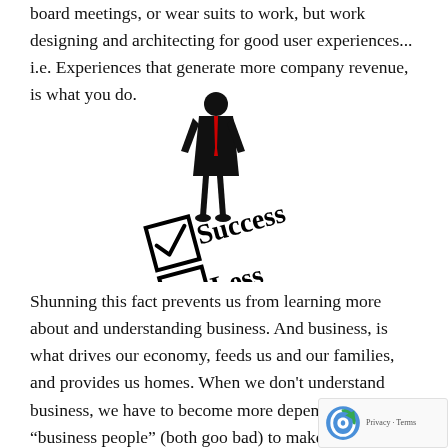board meetings, or wear suits to work, but work designing and architecting for good user experiences... i.e. Experiences that generate more company revenue, is what you do.
[Figure (illustration): A businessman in a dark suit standing on a checked checkbox next to the word 'Success', with an unchecked checkbox below it next to the word 'Less'. The image suggests choosing success over less.]
Shunning this fact prevents us from learning more about and understanding business. And business, is what drives our economy, feeds us and our families, and provides us homes. When we don't understand business, we have to become more dependent on the "business people" (both goo... bad) to make money for us and to pay us (and our bill... setup, one in which only the "real" business people know